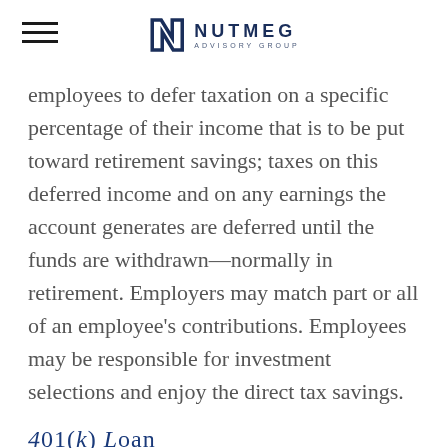NUTMEG ADVISORY GROUP
employees to defer taxation on a specific percentage of their income that is to be put toward retirement savings; taxes on this deferred income and on any earnings the account generates are deferred until the funds are withdrawn—normally in retirement. Employers may match part or all of an employee's contributions. Employees may be responsible for investment selections and enjoy the direct tax savings.
401(k) Loan
A loan taken from the assets within a 401(k) account; 401(k) loans charge interest and are normally paid back through payroll deductions. If the borrower leaves an employer before a 401(k) loan